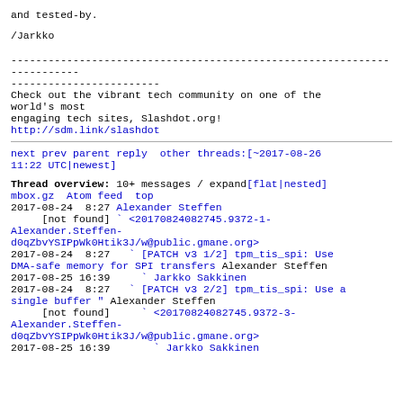and tested-by.
/Jarkko
------------------------------------------------------------------------
------------------------
Check out the vibrant tech community on one of the world's most
engaging tech sites, Slashdot.org!
http://sdm.link/slashdot
next prev parent reply  other threads:[~2017-08-26 11:22 UTC|newest]
Thread overview: 10+ messages / expand[flat|nested]
mbox.gz  Atom feed  top
2017-08-24  8:27 Alexander Steffen
     [not found] ` <20170824082745.9372-1-Alexander.Steffen-d0qZbvYSIPpWk0Htik3J/w@public.gmane.org>
2017-08-24  8:27   ` [PATCH v3 1/2] tpm_tis_spi: Use DMA-safe memory for SPI transfers Alexander Steffen
2017-08-25 16:39     ` Jarkko Sakkinen
2017-08-24  8:27   ` [PATCH v3 2/2] tpm_tis_spi: Use a single buffer " Alexander Steffen
     [not found]     ` <20170824082745.9372-3-Alexander.Steffen-d0qZbvYSIPpWk0Htik3J/w@public.gmane.org>
2017-08-25 16:39       ` Jarkko Sakkinen